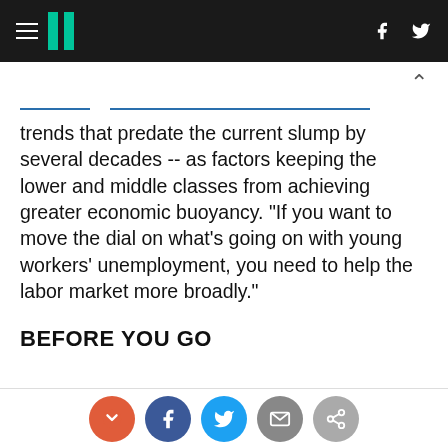HuffPost
trends that predate the current slump by several decades -- as factors keeping the lower and middle classes from achieving greater economic buoyancy. "If you want to move the dial on what's going on with young workers' unemployment, you need to help the labor market more broadly."
BEFORE YOU GO
[Figure (infographic): Social sharing icons row: red circle, facebook blue circle, twitter blue circle, email grey circle, link grey circle]